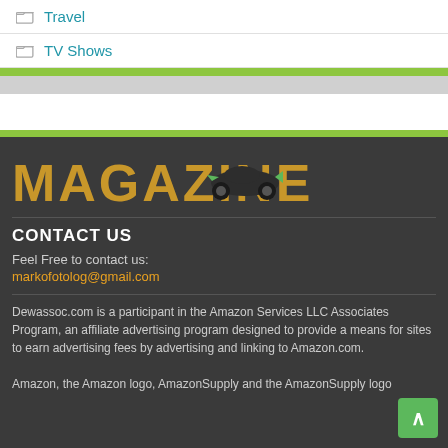Travel
TV Shows
[Figure (logo): MAGAZINE logo in gold bold uppercase letters with a small racing car illustration overlaid on the letters]
CONTACT US
Feel Free to contact us:
markofotolog@gmail.com
Dewassoc.com is a participant in the Amazon Services LLC Associates Program, an affiliate advertising program designed to provide a means for sites to earn advertising fees by advertising and linking to Amazon.com.

Amazon, the Amazon logo, AmazonSupply and the AmazonSupply logo